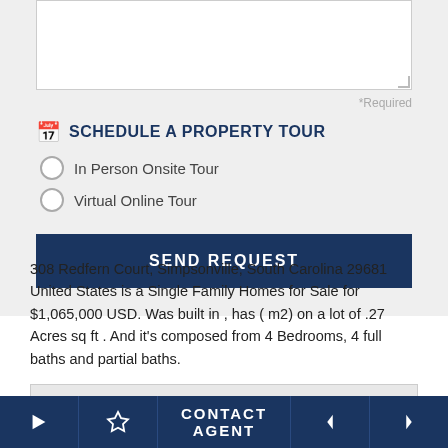*Required
SCHEDULE A PROPERTY TOUR
In Person Onsite Tour
Virtual Online Tour
SEND REQUEST
308 Redfern Court, Simpsonville, South Carolina 29681 United States is a Single Family Homes for Sale for $1,065,000 USD. Was built in , has ( m2) on a lot of .27 Acres sq ft . And it's composed from 4 Bedrooms, 4 full baths and partial baths.
HOMES NEAR 308 REDFERN COURT, SIMPSONVILLE
CONTACT AGENT